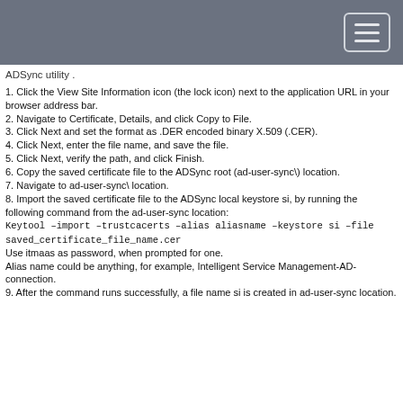ADSync utility .
1. Click the View Site Information icon (the lock icon) next to the application URL in your browser address bar.
2. Navigate to Certificate, Details, and click Copy to File.
3. Click Next and set the format as .DER encoded binary X.509 (.CER).
4. Click Next, enter the file name, and save the file.
5. Click Next, verify the path, and click Finish.
6. Copy the saved certificate file to the ADSync root (ad-user-sync\) location.
7. Navigate to ad-user-sync\ location.
8. Import the saved certificate file to the ADSync local keystore si, by running the following command from the ad-user-sync location: Keytool -import -trustcacerts -alias aliasname -keystore si -file saved_certificate_file_name.cer
Use itmaas as password, when prompted for one.
Alias name could be anything, for example, Intelligent Service Management-AD-connection.
9. After the command runs successfully, a file name si is created in ad-user-sync location.